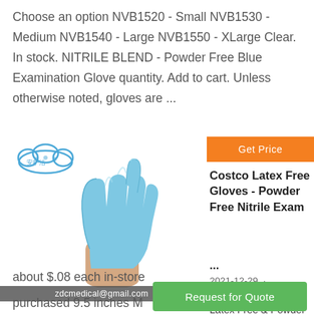Choose an option NVB1520 - Small NVB1530 - Medium NVB1540 - Large NVB1550 - XLarge Clear. In stock. NITRILE BLEND - Powder Free Blue Examination Glove quantity. Add to cart. Unless otherwise noted, gloves are ...
[Figure (photo): Blue nitrile examination glove held up with index finger pointing, with a Chinese medical supply logo in the top left and a watermark 'zdcmedical@gmail.com' at the bottom]
Get Price
Costco Latex Free Gloves - Powder Free Nitrile Exam ...
2021-12-29 ·
Kirkland Signature Latex Free & Powder Free Exam Gloves cost
about $.08 each in-store
purchased 9.5 inches M
Request for Quote